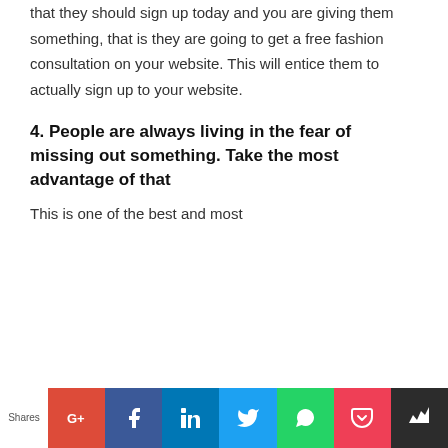that they should sign up today and you are giving them something, that is they are going to get a free fashion consultation on your website. This will entice them to actually sign up to your website.
4. People are always living in the fear of missing out something. Take the most advantage of that
This is one of the best and most
[Figure (infographic): Social sharing bar with Shares label and buttons: Google+, Facebook, LinkedIn, Twitter, WhatsApp, Pocket, Feedly]